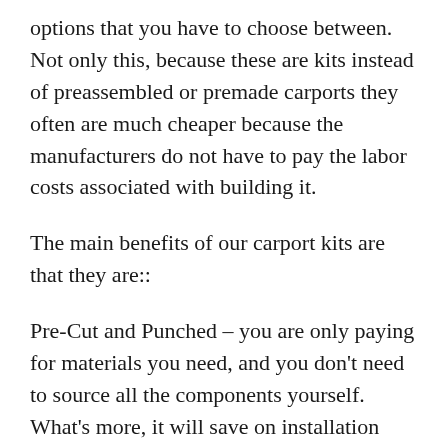options that you have to choose between. Not only this, because these are kits instead of preassembled or premade carports they often are much cheaper because the manufacturers do not have to pay the labor costs associated with building it.
The main benefits of our carport kits are that they are::
Pre-Cut and Punched – you are only paying for materials you need, and you don't need to source all the components yourself. What's more, it will save on installation time whether it's a DIY carport project or you are getting a builder for your work.